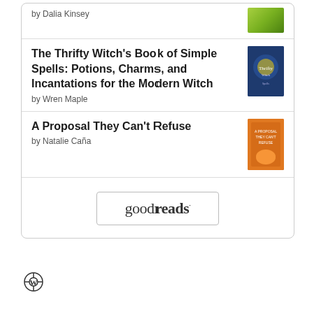by Dalia Kinsey
The Thrifty Witch's Book of Simple Spells: Potions, Charms, and Incantations for the Modern Witch
by Wren Maple
A Proposal They Can't Refuse
by Natalie Caña
[Figure (logo): goodreads logo button with rounded rectangle border]
[Figure (logo): WordPress circular logo icon]